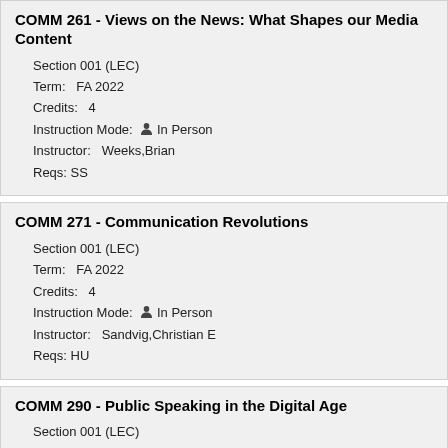COMM 261 - Views on the News: What Shapes our Media Content
Section 001 (LEC)
Term: FA 2022
Credits: 4
Instruction Mode: In Person
Instructor: Weeks,Brian
Reqs: SS
COMM 271 - Communication Revolutions
Section 001 (LEC)
Term: FA 2022
Credits: 4
Instruction Mode: In Person
Instructor: Sandvig,Christian E
Reqs: HU
COMM 290 - Public Speaking in the Digital Age
Section 001 (LEC)
Term: FA 2022
Credits: 3
Instruction Mode: In Person
Instructor: Moshin,Jamie Eric